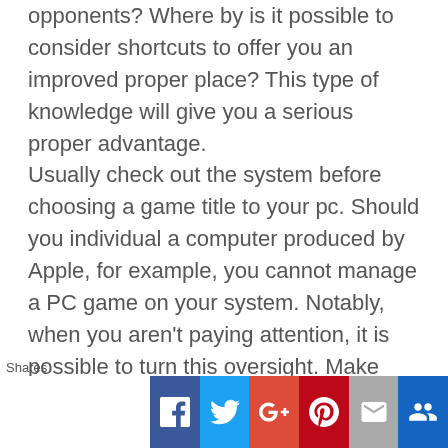opponents? Where by is it possible to consider shortcuts to offer you an improved proper place? This type of knowledge will give you a serious proper advantage.

Usually check out the system before choosing a game title to your pc. Should you individual a computer produced by Apple, for example, you cannot manage a PC game on your system. Notably, when you aren't paying attention, it is possible to turn this oversight. Make investments an
[Figure (infographic): Social sharing bar at the bottom with Facebook, Twitter, Google+, Pinterest, Email, and More buttons. A 'Shares' label appears above the left side.]